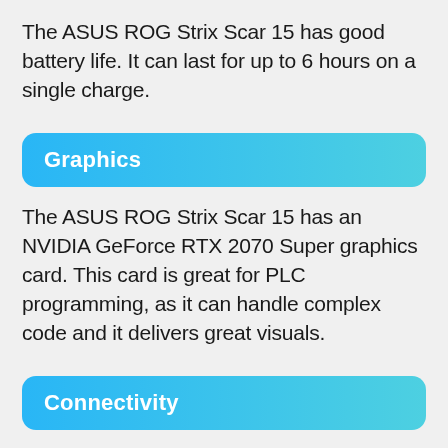The ASUS ROG Strix Scar 15 has good battery life. It can last for up to 6 hours on a single charge.
Graphics
The ASUS ROG Strix Scar 15 has an NVIDIA GeForce RTX 2070 Super graphics card. This card is great for PLC programming, as it can handle complex code and it delivers great visuals.
Connectivity
The ASUS ROG Strix Scar 15 has 802.11ax Wi-Fi and Bluetooth 5.0...